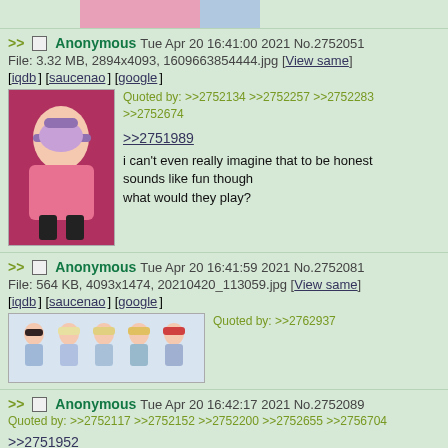[Figure (illustration): Top strip showing partial anime character images cut off at top]
>> Anonymous Tue Apr 20 16:41:00 2021 No.2752051
File: 3.32 MB, 2894x4093, 1609663854444.jpg [View same]
[iqdb] [saucenao] [google]
[Figure (illustration): Anime girl with purple hair in pink outfit on red background]
Quoted by: >>2752134 >>2752257 >>2752283 >>2752674

>>2751989
i can't even really imagine that to be honest
sounds like fun though
what would they play?
>> Anonymous Tue Apr 20 16:41:59 2021 No.2752081
File: 564 KB, 4093x1474, 20210420_113059.jpg [View same]
[iqdb] [saucenao] [google]
[Figure (illustration): Group of chibi anime girls in school uniforms]
Quoted by: >>2762937
>> Anonymous Tue Apr 20 16:42:17 2021 No.2752089
Quoted by: >>2752117 >>2752152 >>2752200 >>2752655 >>2756704

>>2751952
[Figure (other): Black redacted/censored bar]